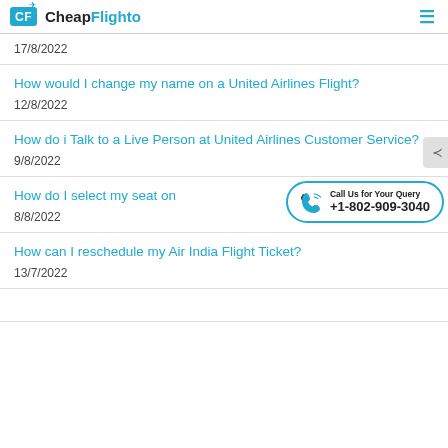CheapFlighto
17/8/2022
How would I change my name on a United Airlines Flight?
12/8/2022
How do i Talk to a Live Person at United Airlines Customer Service?
9/8/2022
How do I select my seat on ...
8/8/2022
How can I reschedule my Air India Flight Ticket?
13/7/2022